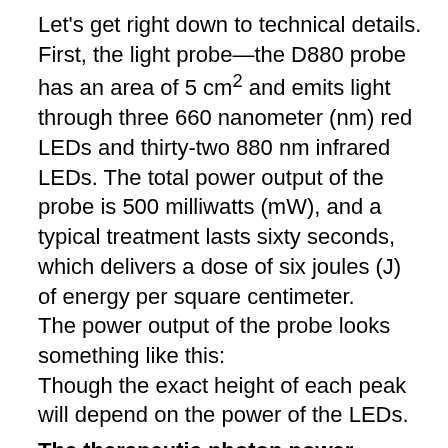Let's get right down to technical details. First, the light probe—the D880 probe has an area of 5 cm² and emits light through three 660 nanometer (nm) red LEDs and thirty-two 880 nm infrared LEDs. The total power output of the probe is 500 milliwatts (mW), and a typical treatment lasts sixty seconds, which delivers a dose of six joules (J) of energy per square centimeter.
The power output of the probe looks something like this:
Though the exact height of each peak will depend on the power of the LEDs.
The therapeutic photon power output of the sun
To figure out how sunlight compares to a light therapy machine, we need data on the solar spectrum here on earth. Fortunately